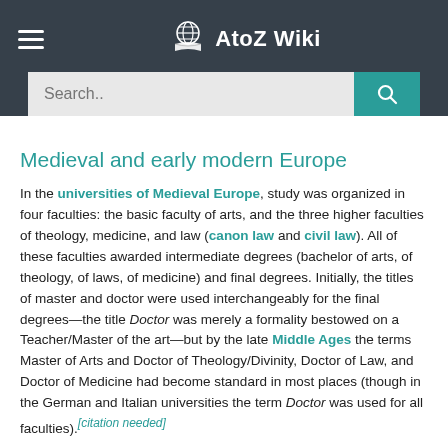AtoZ Wiki
Medieval and early modern Europe
In the universities of Medieval Europe, study was organized in four faculties: the basic faculty of arts, and the three higher faculties of theology, medicine, and law (canon law and civil law). All of these faculties awarded intermediate degrees (bachelor of arts, of theology, of laws, of medicine) and final degrees. Initially, the titles of master and doctor were used interchangeably for the final degrees—the title Doctor was merely a formality bestowed on a Teacher/Master of the art—but by the late Middle Ages the terms Master of Arts and Doctor of Theology/Divinity, Doctor of Law, and Doctor of Medicine had become standard in most places (though in the German and Italian universities the term Doctor was used for all faculties).[citation needed]